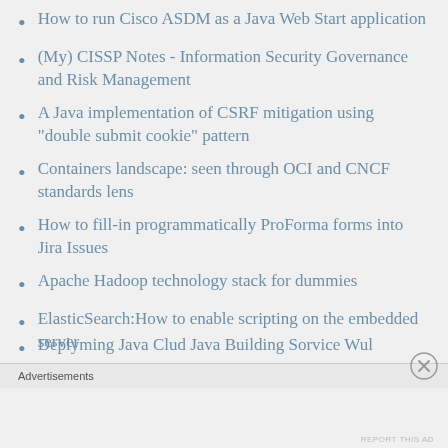How to run Cisco ASDM as a Java Web Start application
(My) CISSP Notes - Information Security Governance and Risk Management
A Java implementation of CSRF mitigation using "double submit cookie" pattern
Containers landscape: seen through OCI and CNCF standards lens
How to fill-in programmatically ProForma forms into Jira Issues
Apache Hadoop technology stack for dummies
ElasticSearch:How to enable scripting on the embedded server
Advertisements